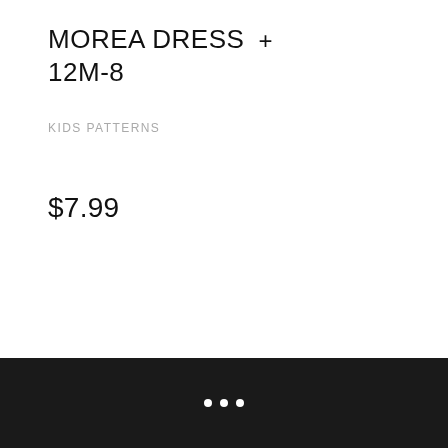MOREA DRESS + 12M-8
KIDS PATTERNS
$7.99
• • •